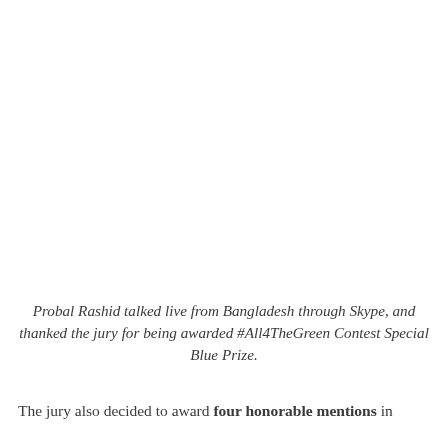Probal Rashid talked live from Bangladesh through Skype, and thanked the jury for being awarded #All4TheGreen Contest Special Blue Prize.
The jury also decided to award four honorable mentions in